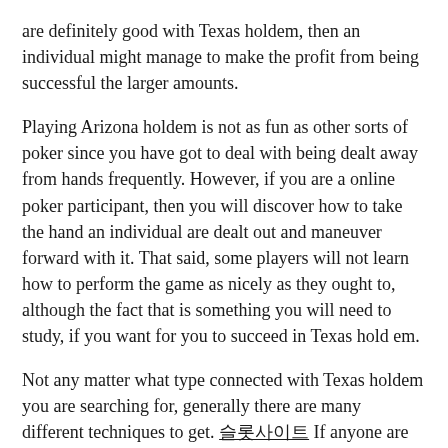are definitely good with Texas holdem, then an individual might manage to make the profit from being successful the larger amounts.
Playing Arizona holdem is not as fun as other sorts of poker since you have got to deal with being dealt away from hands frequently. However, if you are a online poker participant, then you will discover how to take the hand an individual are dealt out and maneuver forward with it. That said, some players will not learn how to perform the game as nicely as they ought to, although the fact that is something you will need to study, if you want for you to succeed in Texas hold em.
Not any matter what type connected with Texas holdem you are searching for, generally there are many different techniques to get. 슬롯사이트 If anyone are able to realize which often hands to remain away from, and study how to read your opponents, then you can be a productive The state of texas hold em player as well as the money you win may reflect that!